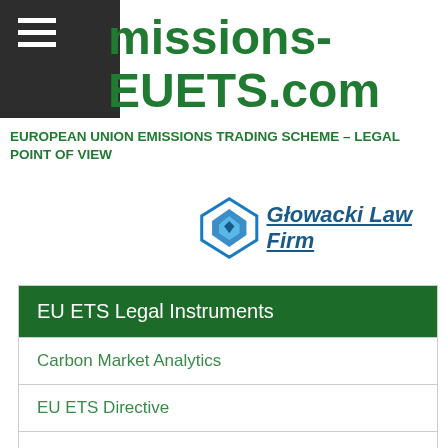Emissions-EUETS.com
EUROPEAN UNION EMISSIONS TRADING SCHEME – LEGAL POINT OF VIEW
[Figure (logo): Głowacki Law Firm logo with diamond/shield icon and firm name]
EU ETS Legal Instruments
Carbon Market Analytics
EU ETS Directive
Registry Regulation
Auctioning Regulation
Commission Decision of 27 April 2011 determining transitional Union-wide rules for harmonised free allocation of emission